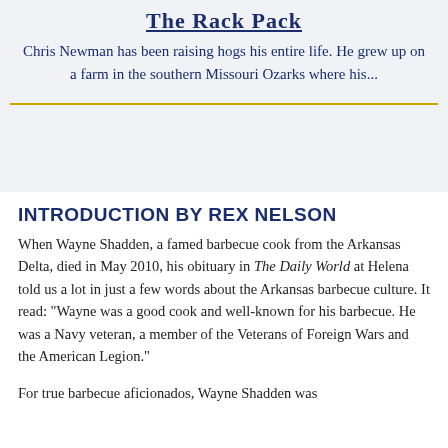The Rack Pack
Chris Newman has been raising hogs his entire life. He grew up on a farm in the southern Missouri Ozarks where his...
INTRODUCTION BY REX NELSON
When Wayne Shadden, a famed barbecue cook from the Arkansas Delta, died in May 2010, his obituary in The Daily World at Helena told us a lot in just a few words about the Arkansas barbecue culture. It read: “Wayne was a good cook and well-known for his barbecue. He was a Navy veteran, a member of the Veterans of Foreign Wars and the American Legion.”

For true barbecue aficionados, Wayne Shadden was